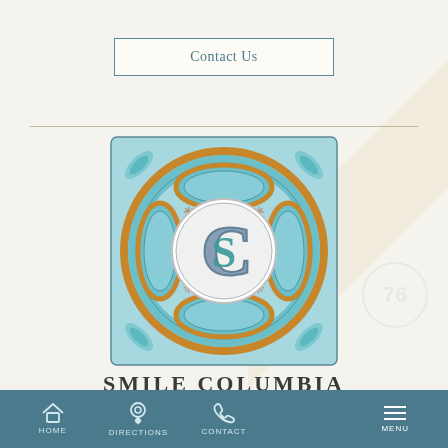Contact Us
[Figure (logo): Smile Columbia Dentistry logo — ornate square tile with teal and gold circular medallion design, featuring overlapping C and S letters in the center]
SMILE COLUMBIA
DENTISTRY
HOME   DIRECTIONS   CONTACT   MENU